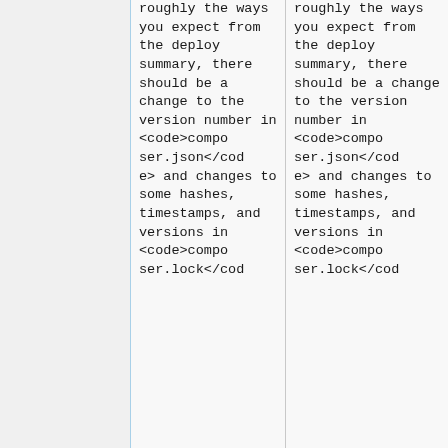roughly the ways you expect from the deploy summary, there should be a change to the version number in <code>composer.json</code> and changes to some hashes, timestamps, and versions in <code>composer.lock</cod
roughly the ways you expect from the deploy summary, there should be a change to the version number in <code>composer.json</code> and changes to some hashes, timestamps, and versions in <code>composer.lock</cod